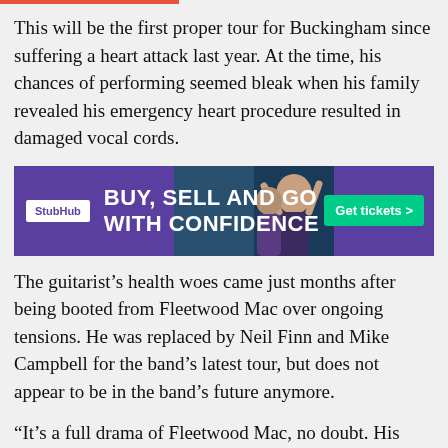This will be the first proper tour for Buckingham since suffering a heart attack last year. At the time, his chances of performing seemed bleak when his family revealed his emergency heart procedure resulted in damaged vocal cords.
[Figure (other): StubHub advertisement banner with purple background, text 'BUY, SELL AND GO WITH CONFIDENCE', a photo of a woman at a concert, and a green 'Get tickets >' button.]
The guitarist's health woes came just months after being booted from Fleetwood Mac over ongoing tensions. He was replaced by Neil Finn and Mike Campbell for the band's latest tour, but does not appear to be in the band's future anymore.
“It’s a full drama of Fleetwood Mac, no doubt. His legacy is alive and well, and as it should be. A major, major part that will never be taken away, and never be down-spoken by any of us,” Mick Fleetwood revealed to